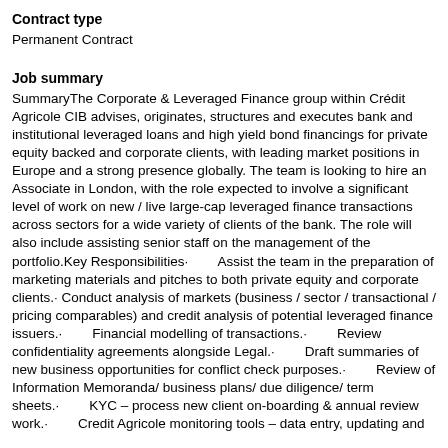Contract type
Permanent Contract
Job summary
SummaryThe Corporate & Leveraged Finance group within Crédit Agricole CIB advises, originates, structures and executes bank and institutional leveraged loans and high yield bond financings for private equity backed and corporate clients, with leading market positions in Europe and a strong presence globally. The team is looking to hire an Associate in London, with the role expected to involve a significant level of work on new / live large-cap leveraged finance transactions across sectors for a wide variety of clients of the bank. The role will also include assisting senior staff on the management of the portfolio.Key Responsibilities·        Assist the team in the preparation of marketing materials and pitches to both private equity and corporate clients.· Conduct analysis of markets (business / sector / transactional / pricing comparables) and credit analysis of potential leveraged finance issuers.·        Financial modelling of transactions.·        Review confidentiality agreements alongside Legal.·        Draft summaries of new business opportunities for conflict check purposes.·        Review of Information Memoranda/ business plans/ due diligence/ term sheets.·        KYC – process new client on-boarding & annual review work.·        Credit Agricole monitoring tools – data entry, updating and